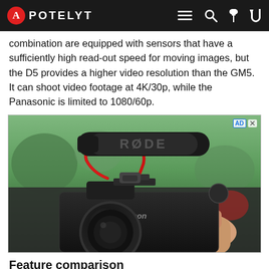APOTELYT
combination are equipped with sensors that have a sufficiently high read-out speed for moving images, but the D5 provides a higher video resolution than the GM5. It can shoot video footage at 4K/30p, while the Panasonic is limited to 1080/60p.
[Figure (photo): A Canon DSLR camera with a RØDE shotgun microphone mounted on top with a red shock mount, held in a person's hand. Outdoor background slightly blurred.]
Feature comparison